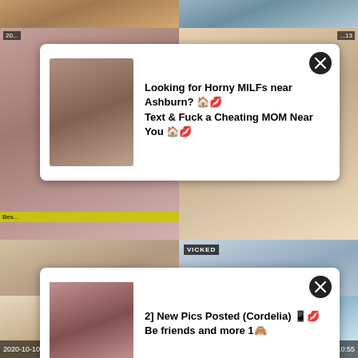[Figure (screenshot): Video thumbnail grid showing adult video thumbnails with dates 2020-10-10 and durations. Two advertisement popups overlay the thumbnails.]
Looking for Horny MILFs near Ashburn? 🏠💋 Text & Fuck a Cheating MOM Near You 🏠💋
2] New Pics Posted (Cordelia) 📱💋 Be friends and more 1🙈
Katja reitet die Orgasmusmaschine Katja
Mia Malkova Fucks Her Friend's Nerdy